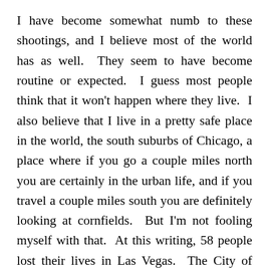I have become somewhat numb to these shootings, and I believe most of the world has as well.  They seem to have become routine or expected.  I guess most people think that it won't happen where they live.  I also believe that I live in a pretty safe place in the world, the south suburbs of Chicago, a place where if you go a couple miles north you are certainly in the urban life, and if you travel a couple miles south you are definitely looking at cornfields.  But I'm not fooling myself with that.  At this writing, 58 people lost their lives in Las Vegas.  The City of Chicago loses that many people in a month to gunfire.  September 2017 alone registered 60 people murdered in Chicago(1). Chicago has a Las Vegas massacre about every month.